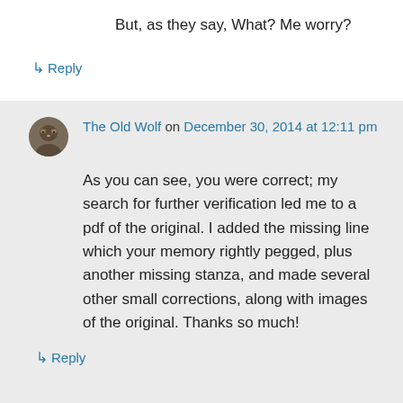But, as they say, What? Me worry?
↳ Reply
The Old Wolf on December 30, 2014 at 12:11 pm
As you can see, you were correct; my search for further verification led me to a pdf of the original. I added the missing line which your memory rightly pegged, plus another missing stanza, and made several other small corrections, along with images of the original. Thanks so much!
↳ Reply